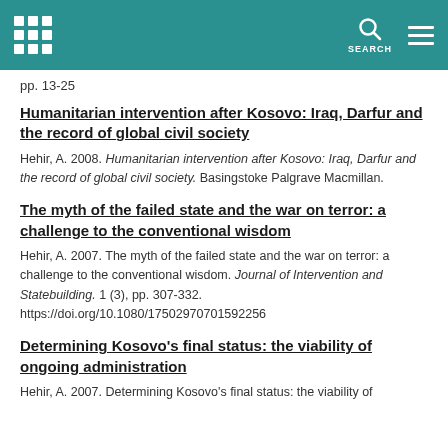SEARCH
pp. 13-25
Humanitarian intervention after Kosovo: Iraq, Darfur and the record of global civil society
Hehir, A. 2008. Humanitarian intervention after Kosovo: Iraq, Darfur and the record of global civil society. Basingstoke Palgrave Macmillan.
The myth of the failed state and the war on terror: a challenge to the conventional wisdom
Hehir, A. 2007. The myth of the failed state and the war on terror: a challenge to the conventional wisdom. Journal of Intervention and Statebuilding. 1 (3), pp. 307-332. https://doi.org/10.1080/17502970701592256
Determining Kosovo's final status: the viability of ongoing administration
Hehir, A. 2007. Determining Kosovo's final status: the viability of